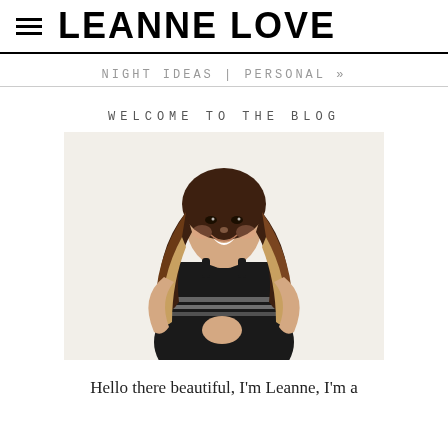LEANNE LOVE
NIGHT IDEAS | PERSONAL »
WELCOME TO THE BLOG
[Figure (photo): Professional photo of a smiling woman with long wavy brown-to-blonde ombre hair, wearing a black sleeveless dress with horizontal stripe detail at the waist, posing against a light/white background.]
Hello there beautiful, I'm Leanne, I'm a